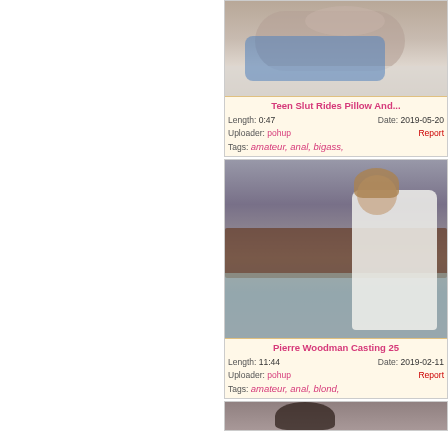[Figure (photo): Video thumbnail showing a person lying on a blue pillow/cushion on the floor, viewed from above]
Teen Slut Rides Pillow And...
Length: 0:47    Date: 2019-05-20
Uploader: pohup    Report
Tags: amateur, anal, bigass,
[Figure (photo): Video thumbnail showing a woman in a white robe on a bed, with ANALTODAY.com watermark]
Pierre Woodman Casting 25
Length: 11:44    Date: 2019-02-11
Uploader: pohup    Report
Tags: amateur, anal, blond,
[Figure (photo): Partial video thumbnail at the bottom of the page, dark-haired person visible]